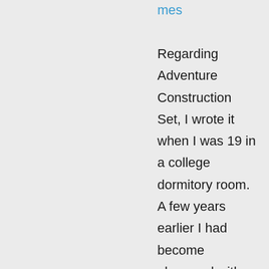mes
Regarding Adventure Construction Set, I wrote it when I was 19 in a college dormitory room. A few years earlier I had become obsessed with Colossal Cave Adventure. It was the first computer program where I didn't quite understand how it worked. It seemed magical. I credit it with getting me to want to understand computer programming on a deeper level. I suppose I wrote ACS to prove that I did finally understand how text adventures worked. Looking back at it now, the system seems quite primitive, but at